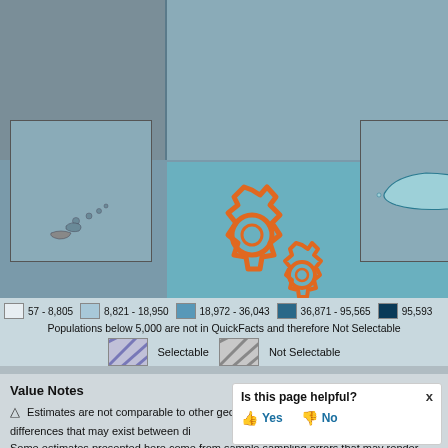[Figure (map): US Census QuickFacts interactive map showing geographic data with Hawaii inset (lower left) and Puerto Rico inset (lower right). A gear/settings icon overlay is visible in the center. The map uses teal/blue color scheme.]
57 - 8,805   8,821 - 18,950   18,972 - 36,043   36,871 - 95,565   95,593
Populations below 5,000 are not in QuickFacts and therefore Not Selectable
Selectable   Not Selectable
Value Notes
Estimates are not comparable to other geographic levels due to methodology differences that may exist between di
Some estimates presented here come from sample sampling errors that may render some apparent dif geographies statistically indistinguishable. Click the
Is this page helpful?
Yes   No